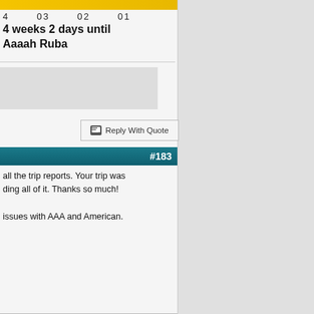[Figure (other): Yellow/gold banner at top of left panel, partially visible]
4    03    02    01
4 weeks 2 days until
Aaaah Ruba
Reply With Quote
#183
all the trip reports. Your trip was
ing all of it. Thanks so much!
issues with AAA and American.